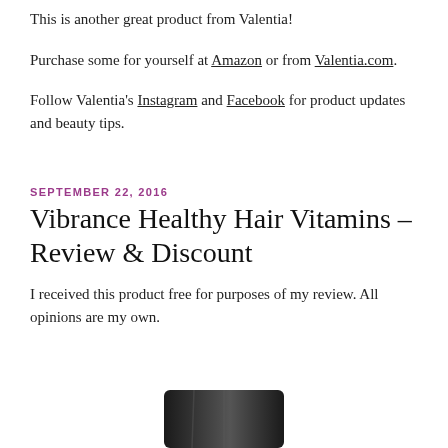This is another great product from Valentia!
Purchase some for yourself at Amazon or from Valentia.com.
Follow Valentia's Instagram and Facebook for product updates and beauty tips.
SEPTEMBER 22, 2016
Vibrance Healthy Hair Vitamins – Review & Discount
I received this product free for purposes of my review. All opinions are my own.
[Figure (photo): Bottom portion of a dark bottle product photo, partially visible at the bottom of the page]